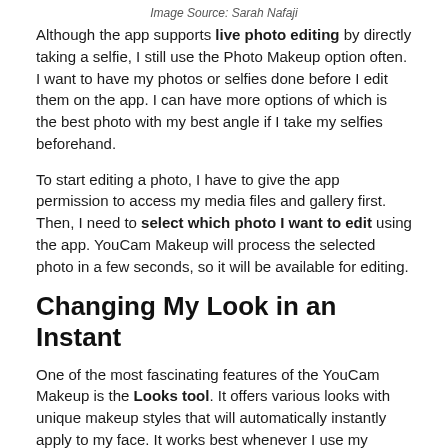Image Source: Sarah Nafaji
Although the app supports live photo editing by directly taking a selfie, I still use the Photo Makeup option often. I want to have my photos or selfies done before I edit them on the app. I can have more options of which is the best photo with my best angle if I take my selfies beforehand.
To start editing a photo, I have to give the app permission to access my media files and gallery first. Then, I need to select which photo I want to edit using the app. YouCam Makeup will process the selected photo in a few seconds, so it will be available for editing.
Changing My Look in an Instant
One of the most fascinating features of the YouCam Makeup is the Looks tool. It offers various looks with unique makeup styles that will automatically instantly apply to my face. It works best whenever I use my barefaced selfies.